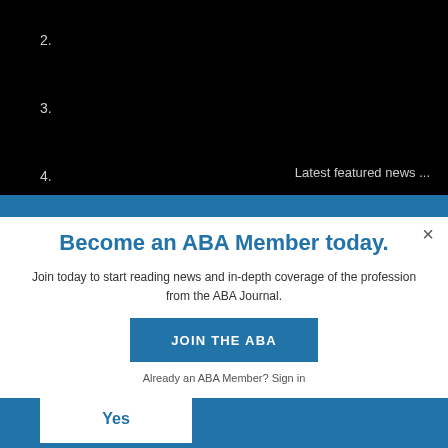2.
3.
4.
Latest featured news ...
Become an ABA Member today.
Join today to start reading news and in-depth coverage of the profession from the ABA Journal.
JOIN THE ABA
Already an ABA Member? Sign in
Yes